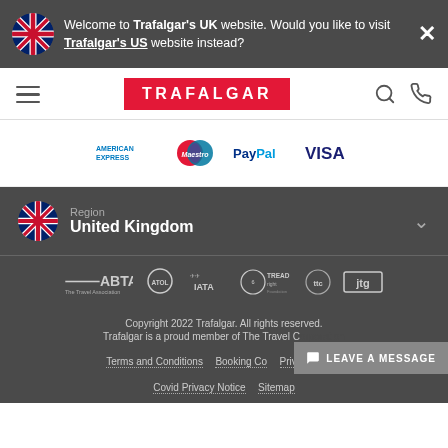Welcome to Trafalgar's UK website. Would you like to visit Trafalgar's US website instead?
[Figure (logo): Trafalgar red logo in navigation bar]
[Figure (logo): Payment logos: American Express, Maestro, PayPal, Visa]
Region United Kingdom
[Figure (logo): Association logos: ABTA The Travel Association, ATOL, IATA, Treadright, TTC, JTG]
Copyright 2022 Trafalgar. All rights reserved. Trafalgar is a proud member of The Travel Corporation.
Terms and Conditions   Booking Conditions   Privacy Policy
Covid Privacy Notice   Sitemap